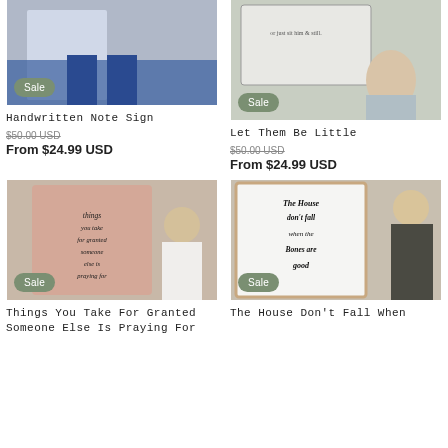[Figure (photo): Person holding a handwritten note sign, sale badge visible]
Handwritten Note Sign
$50.00 USD (strikethrough)
From $24.99 USD
[Figure (photo): Let Them Be Little sign with child, sale badge visible]
Let Them Be Little
$50.00 USD (strikethrough)
From $24.99 USD
[Figure (photo): Things you take for granted someone else is praying for sign, sale badge visible]
Things You Take For Granted Someone Else Is Praying For
[Figure (photo): The House Don't Fall When the Bones Are Good sign, sale badge visible]
The House Don't Fall When